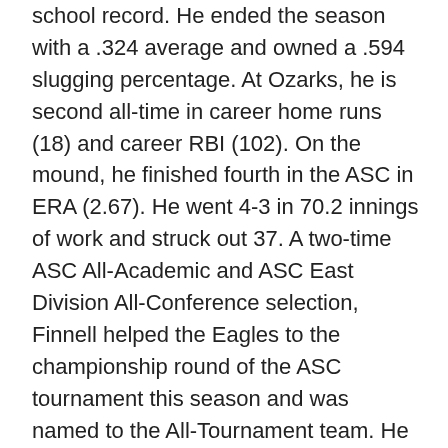school record. He ended the season with a .324 average and owned a .594 slugging percentage. At Ozarks, he is second all-time in career home runs (18) and career RBI (102). On the mound, he finished fourth in the ASC in ERA (2.67). He went 4-3 in 70.2 innings of work and struck out 37. A two-time ASC All-Academic and ASC East Division All-Conference selection, Finnell helped the Eagles to the championship round of the ASC tournament this season and was named to the All-Tournament team. He is a Political Science major and was recently named Ozarks' 2006-2007 Male Athlete of the Year. ESPN The Magazine Academic All-District VI Baseball Team for the college division recognizes outstanding NCAA Division II, NCAA Division III, and NAIA student-athletes from the states of Arkansas, Louisiana, Mississippi, New Mexico, Oklahoma and Texas. To be eligible for Academic All-America honors, student-athletes must be a starter with legitimate athletic achievements and maintain at least a 3.20 cumulative